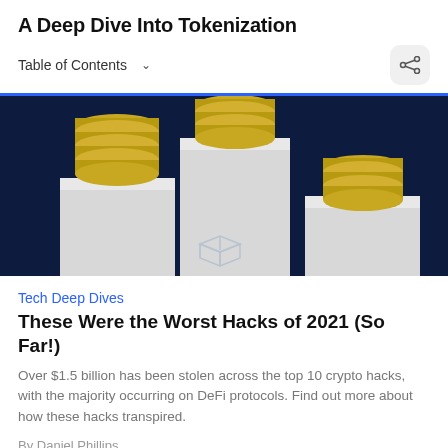A Deep Dive Into Tokenization
Table of Contents
[Figure (photo): 3D render of gold coins stacked on white pedestals with a wireframe cube, on a dark navy background]
Tech Deep Dives
These Were the Worst Hacks of 2021 (So Far!)
Over $1.5 billion has been stolen across the top 10 crypto hacks, with the majority occurring on DeFi protocols. Find out more about how these hacks transpired.
By Daniel Phillips
8 months ago   3m